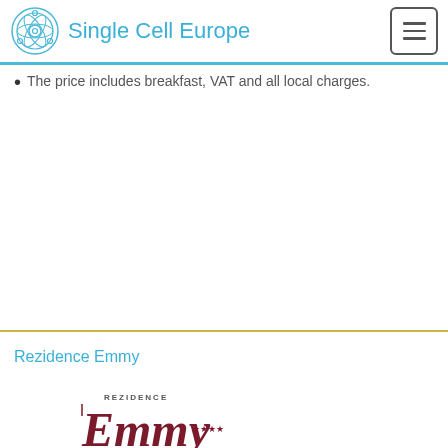Single Cell Europe
The price includes breakfast, VAT and all local charges.
Rezidence Emmy
[Figure (logo): Rezidence Emmy four-star hotel logo with stylized cursive text in dark red/maroon]